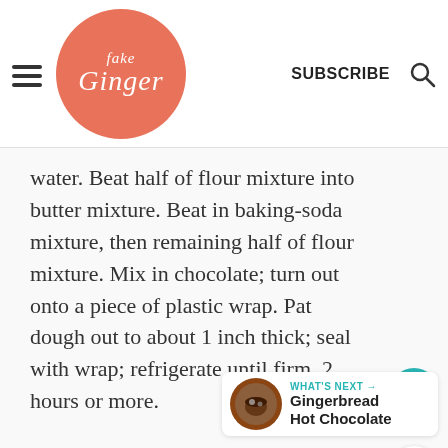Fake Ginger — SUBSCRIBE
water. Beat half of flour mixture into butter mixture. Beat in baking-soda mixture, then remaining half of flour mixture. Mix in chocolate; turn out onto a piece of plastic wrap. Pat dough out to about 1 inch thick; seal with wrap; refrigerate until firm, 2 hours or more.
270
WHAT'S NEXT → Gingerbread Hot Chocolate